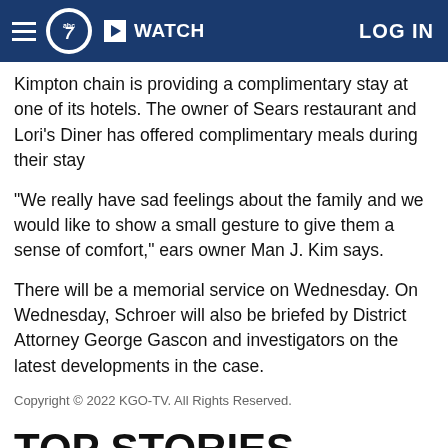ABC7 | WATCH | LOG IN
Kimpton chain is providing a complimentary stay at one of its hotels. The owner of Sears restaurant and Lori's Diner has offered complimentary meals during their stay
"We really have sad feelings about the family and we would like to show a small gesture to give them a sense of comfort," ears owner Man J. Kim says.
There will be a memorial service on Wednesday. On Wednesday, Schroer will also be briefed by District Attorney George Gascon and investigators on the latest developments in the case.
Copyright © 2022 KGO-TV. All Rights Reserved.
TOP STORIES